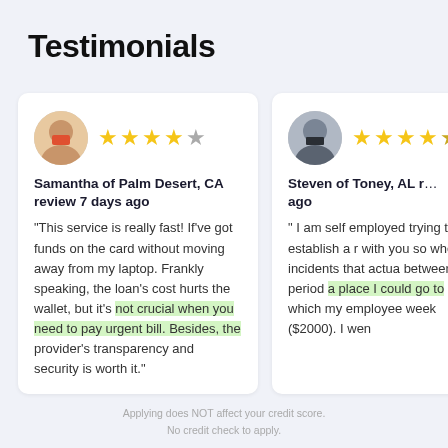Testimonials
Samantha of Palm Desert, CA review 7 days ago
"This service is really fast! If've got funds on the card without moving away from my laptop. Frankly speaking, the loan's cost hurts the wallet, but it's not crucial when you need to pay urgent bill. Besides, the provider's transparency and security is worth it."
Steven of Toney, AL ... ago
" I am self employed trying to establish a ... with you so when th... incidents that actua... between pay period ... a place I could go to... which my employee... week ($2000). I wen...
Applying does NOT affect your credit score. No credit check to apply.